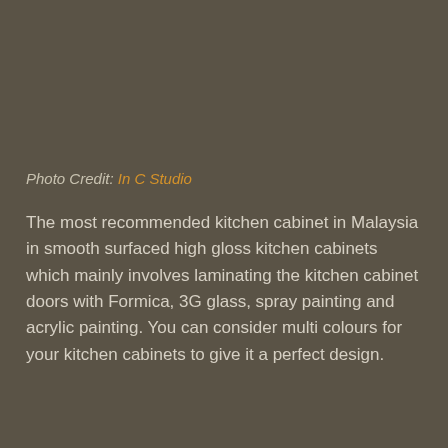Photo Credit: In C Studio
The most recommended kitchen cabinet in Malaysia in smooth surfaced high gloss kitchen cabinets which mainly involves laminating the kitchen cabinet doors with Formica, 3G glass, spray painting and acrylic painting. You can consider multi colours for your kitchen cabinets to give it a perfect design.